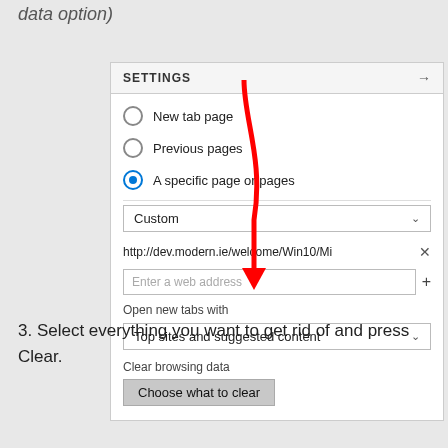data option)
[Figure (screenshot): Windows Edge browser Settings panel showing radio buttons for New tab page, Previous pages, A specific page or pages (selected), a Custom dropdown, a URL field with http://dev.modern.ie/welcome/Win10/Mi, an Enter a web address input, Open new tabs with dropdown showing Top sites and suggested content, and Clear browsing data section with a Choose what to clear button. A red arrow annotation points to the Choose what to clear button.]
3. Select everything you want to get rid of and press Clear.
[Figure (screenshot): Bottom portion of browser panel showing Clear browsing data option with navigation arrows.]